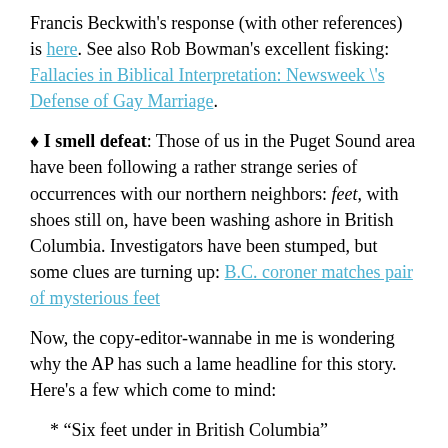Francis Beckwith's response (with other references) is here. See also Rob Bowman's excellent fisking: Fallacies in Biblical Interpretation: Newsweek \'s Defense of Gay Marriage.
♦ I smell defeat: Those of us in the Puget Sound area have been following a rather strange series of occurrences with our northern neighbors: feet, with shoes still on, have been washing ashore in British Columbia. Investigators have been stumped, but some clues are turning up: B.C. coroner matches pair of mysterious feet
Now, the copy-editor-wannabe in me is wondering why the AP has such a lame headline for this story. Here's a few which come to mind:
* "Six feet under in British Columbia"
* "Friends say missing dancer had two left feet"